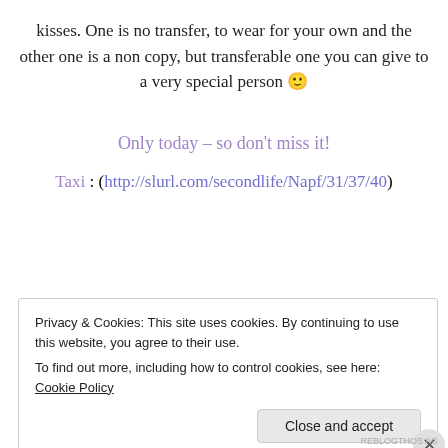kisses. One is no transfer, to wear for your own and the other one is a non copy, but transferable one you can give to a very special person 🙂
Only today – so don't miss it!
Taxi : (http://slurl.com/secondlife/Napf/31/37/40)
Privacy & Cookies: This site uses cookies. By continuing to use this website, you agree to their use. To find out more, including how to control cookies, see here: Cookie Policy